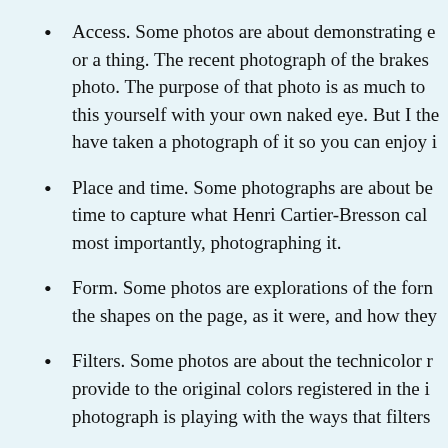Access. Some photos are about demonstrating e or a thing. The recent photograph of the brakes photo. The purpose of that photo is as much to this yourself with your own naked eye. But I the have taken a photograph of it so you can enjoy i
Place and time. Some photographs are about be time to capture what Henri Cartier-Bresson cal most importantly, photographing it.
Form. Some photos are explorations of the forn the shapes on the page, as it were, and how they
Filters. Some photos are about the technicolor r provide to the original colors registered in the i photograph is playing with the ways that filters
Subject matter. Some photographs are about th